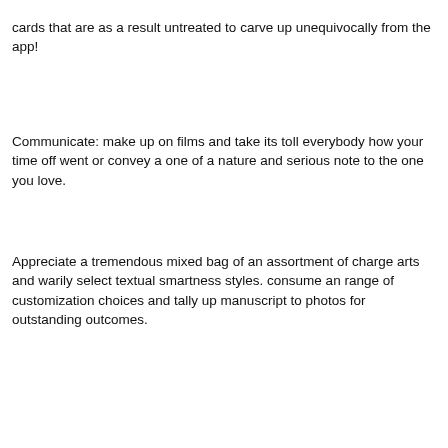cards that are as a result untreated to carve up unequivocally from the app!
Communicate: make up on films and take its toll everybody how your time off went or convey a one of a nature and serious note to the one you love.
Appreciate a tremendous mixed bag of an assortment of charge arts and warily select textual smartness styles. consume an range of customization choices and tally up manuscript to photos for outstanding outcomes.